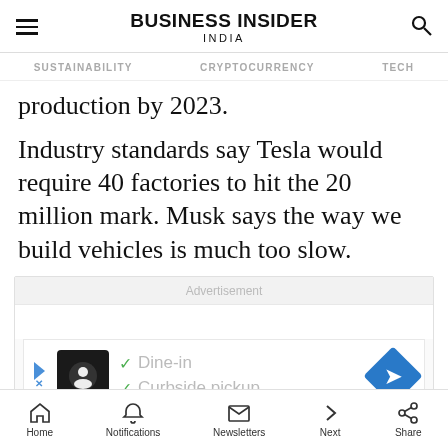BUSINESS INSIDER INDIA
SUSTAINABILITY   CRYPTOCURRENCY   TECH
production by 2023.
Industry standards say Tesla would require 40 factories to hit the 20 million mark. Musk says the way we build vehicles is much too slow.
[Figure (other): Advertisement box with Dine-in and Curbside pickup checkmarks]
Home   Notifications   Newsletters   Next   Share